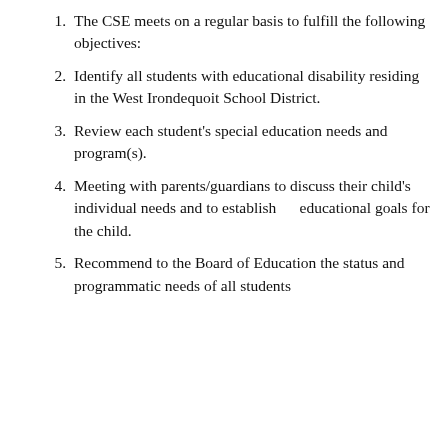1. The CSE meets on a regular basis to fulfill the following objectives:
2. Identify all students with educational disability residing in the West Irondequoit School District.
3. Review each student's special education needs and program(s).
4. Meeting with parents/guardians to discuss their child's individual needs and to establish      educational goals for the child.
5. Recommend to the Board of Education the status and programmatic needs of all students